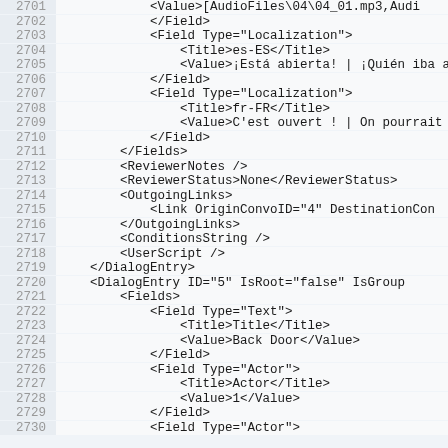Code listing lines 2701-2730 showing XML dialog entry structure with fields for localization, reviewer notes, outgoing links, conditions, and dialog entries.